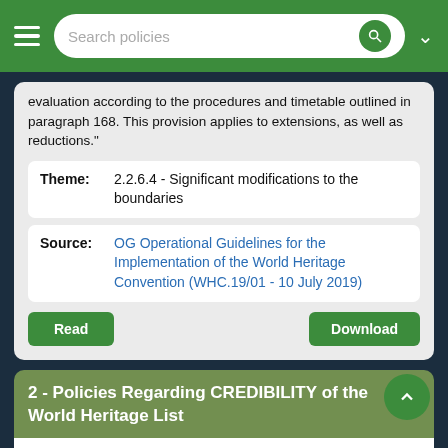Search policies
evaluation according to the procedures and timetable outlined in paragraph 168. This provision applies to extensions, as well as reductions."
| Field | Value |
| --- | --- |
| Theme: | 2.2.6.4 - Significant modifications to the boundaries |
| Source: | OG Operational Guidelines for the Implementation of the World Heritage Convention (WHC.19/01 - 10 July 2019) |
Read | Download
2 - Policies Regarding CREDIBILITY of the World Heritage List
Operational Guidelines